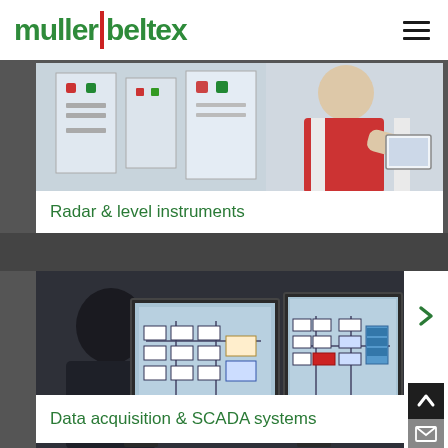muller|beltex
[Figure (photo): Laboratory or inspection scene with a person in a red vest working at a control panel or equipment board, white walls with panels in the background]
Radar & level instruments
[Figure (photo): Person seated at a workstation viewing two computer monitors displaying SCADA system diagrams with process flow schematics]
Data acquisition & SCADA systems